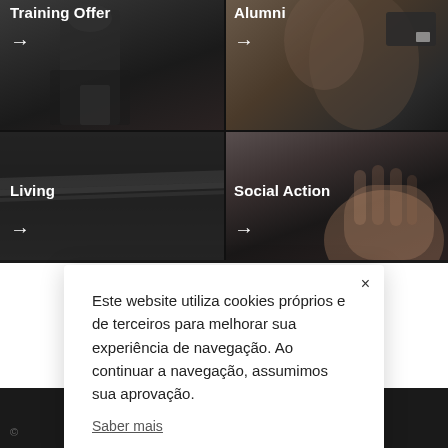[Figure (screenshot): Two-by-two grid of dark navigation tiles: Training Offer (top-left), Alumni (top-right), Living (bottom-left), Social Action (bottom-right), each with white label text and arrow]
Este website utiliza cookies próprios e de terceiros para melhorar sua experiência de navegação. Ao continuar a navegação, assumimos sua aprovação.
Saber mais